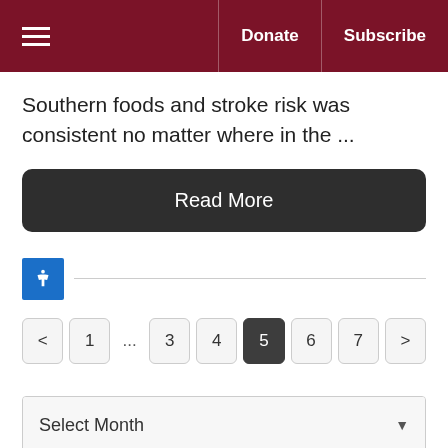Donate | Subscribe
Southern foods and stroke risk was consistent no matter where in the ...
Read More
< 1 ... 3 4 5 6 7 >
Select Month
Select Category